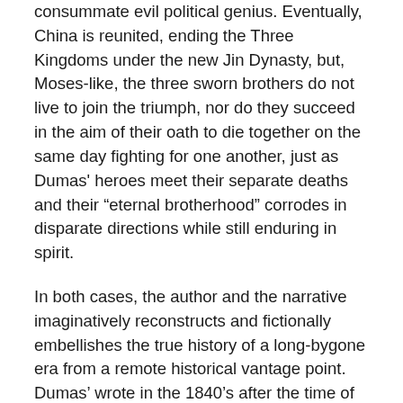consummate evil political genius. Eventually, China is reunited, ending the Three Kingdoms under the new Jin Dynasty, but, Moses-like, the three sworn brothers do not live to join the triumph, nor do they succeed in the aim of their oath to die together on the same day fighting for one another, just as Dumas' heroes meet their separate deaths and their “eternal brotherhood” corrodes in disparate directions while still enduring in spirit.
In both cases, the author and the narrative imaginatively reconstructs and fictionally embellishes the true history of a long-bygone era from a remote historical vantage point. Dumas' wrote in the 1840’s after the time of the French Revolution and the rise and fall of Napoleon about the period of the consolidation of the French autocratic state from the time of Louis XIII, the Fronde Rebellion and the rise of Louis XIV in the 1600’s, before and afterthe rise